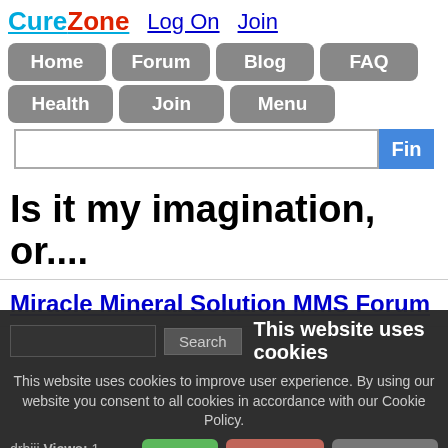CureZone  Log On  Join
Home  Forum  Blog  FAQ  Health  Join  Menu
Is it my imagination, or....
Miracle Mineral Solution MMS Forum
This website uses cookies
This website uses cookies to improve user experience. By using our website you consent to all cookies in accordance with our Cookie Policy.
drhiii Views: 1  Published: